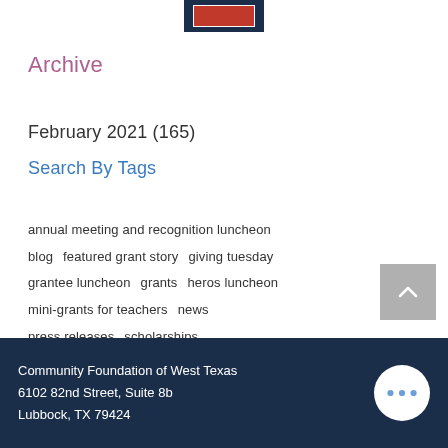[Figure (logo): Organization logo at top center, dark navy background with red emblem]
Archive
February 2021 (165)
Search By Tags
annual meeting and recognition luncheon
blog   featured grant story   giving tuesday
grantee luncheon   grants   heros luncheon
mini-grants for teachers   news
press releases   scholarships
Community Foundation of West Texas
6102 82nd Street, Suite 8b
Lubbock, TX 79424